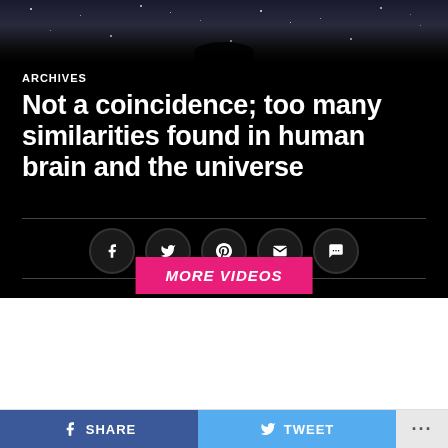[Figure (photo): Dark hero area with starry night sky at top, black background, social sharing icons, and MORE VIDEOS button]
ARCHIVES
Not a coincidence; too many similarities found in human brain and the universe
Published 2 years ago on
By Mahima Joshi
According to a new study, the network of neurons in your brain and the cosmic web